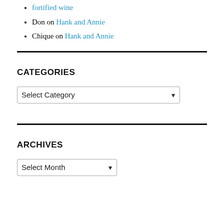fortified wine
Don on Hank and Annie
Chique on Hank and Annie
CATEGORIES
Select Category (dropdown)
ARCHIVES
Select Month (dropdown)